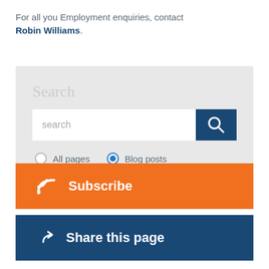For all you Employment enquiries, contact Robin Williams.
[Figure (screenshot): Search widget with text input field, search button, radio buttons for 'All pages' and 'Blog posts' (Blog posts selected), Subscribe bar in orange, and Share this page bar in dark blue.]
Search
search
All pages
Blog posts
Subscribe
Share this page